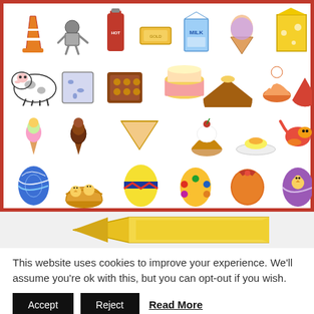[Figure (illustration): Grid of colorful vector clip-art icons including food items (traffic cone, cheese, milk, ice cream, cow, cake, cupcakes, pie, chocolate, cookies), Easter eggs, chicks, bunnies, Easter baskets, cartoon animals and characters arranged in four rows within a red border.]
Total more than 1400 Vector Graphics distributed into more than 50 organized categories!
[Figure (illustration): A large golden/yellow arrow shape pointing left, partially visible, on a light gray background.]
This website uses cookies to improve your experience. We'll assume you're ok with this, but you can opt-out if you wish.